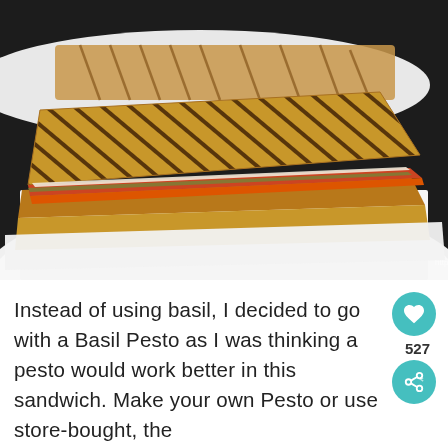[Figure (photo): Close-up photo of a grilled panini sandwich with grill marks on top, filled with tomato slices, melted mozzarella cheese, and basil pesto on a white plate. A second sandwich is visible in the background on another white plate. Dark background.]
Instead of using basil, I decided to go with a Basil Pesto as I was thinking a pesto would work better in this sandwich. Make your own Pesto or use store-bought, the